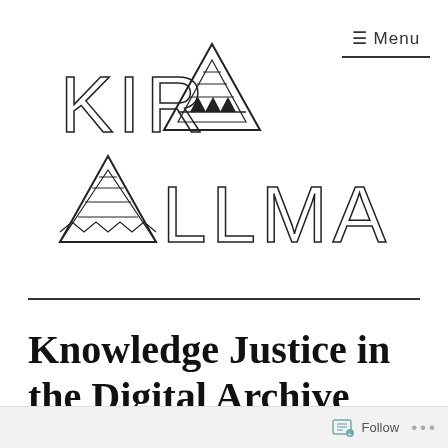[Figure (logo): Kira Allmann logo with stylized text and triangle/mountain motifs in hand-drawn style]
≡ Menu
Knowledge Justice in the Digital Archive (Talk +